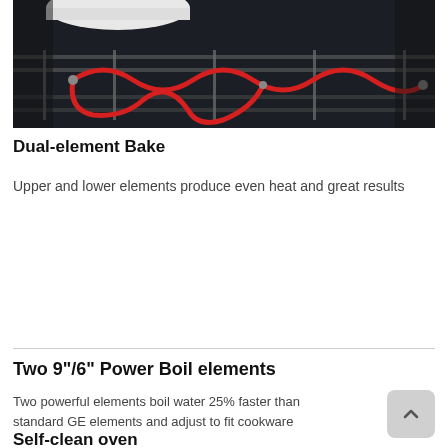[Figure (photo): Close-up photo of an oven interior showing heating elements (red coiled wire/element) over a dark background with oven racks, and a white pot/pan visible at the top.]
Dual-element Bake
Upper and lower elements produce even heat and great results
Watch Video
Two 9"/6" Power Boil elements
Two powerful elements boil water 25% faster than standard GE elements and adjust to fit cookware
Self-clean oven